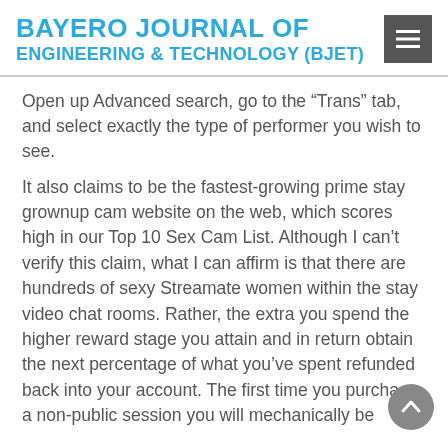BAYERO JOURNAL OF ENGINEERING & TECHNOLOGY (BJET)
Open up Advanced search, go to the “Trans” tab, and select exactly the type of performer you wish to see.
It also claims to be the fastest-growing prime stay grownup cam website on the web, which scores high in our Top 10 Sex Cam List. Although I can’t verify this claim, what I can affirm is that there are hundreds of sexy Streamate women within the stay video chat rooms. Rather, the extra you spend the higher reward stage you attain and in return obtain the next percentage of what you’ve spent refunded back into your account. The first time you purchase a non-public session you will mechanically be